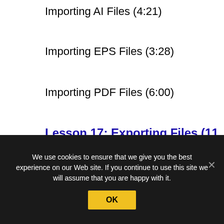Importing AI Files (4:21)
Importing EPS Files (3:28)
Importing PDF Files (6:00)
Lesson 17: Exporting Files (11 Pages)
We use cookies to ensure that we give you the best experience on our Web site. If you continue to use this site we will assume that you are happy with it.